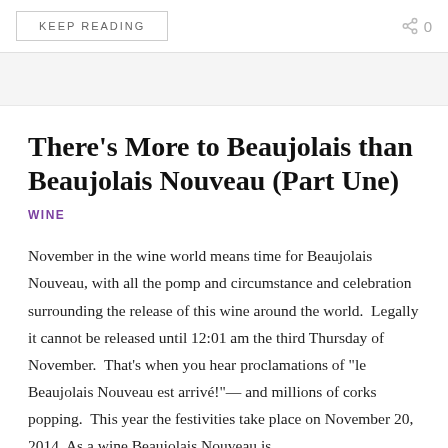KEEP READING
There’s More to Beaujolais than Beaujolais Nouveau (Part Une)
WINE
November in the wine world means time for Beaujolais Nouveau, with all the pomp and circumstance and celebration surrounding the release of this wine around the world.  Legally it cannot be released until 12:01 am the third Thursday of November.  That’s when you hear proclamations of “le Beaujolais Nouveau est arrivé!”— and millions of corks popping.  This year the festivities take place on November 20, 2014. As a wine Beaujolais Nouveau is